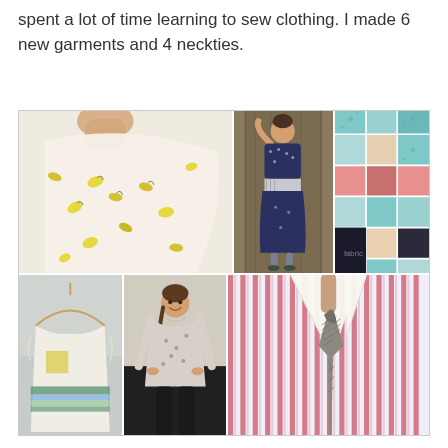spent a lot of time learning to sew clothing. I made 6 new garments and 4 neckties.
[Figure (photo): A collage of 5 sewing/clothing photos: top-left shows a yellow floral fabric being held up; top-center shows a woman in a navy patterned dress outdoors; top-right shows a patchwork quilt with teal, coral, and dark squares; bottom-left shows a white sleeveless top on a hanger with colorful print; bottom-center shows a woman in a floral long-sleeve blouse smiling outdoors; bottom-right shows a close-up of a striped shirt collar with a gray herringbone necktie.]